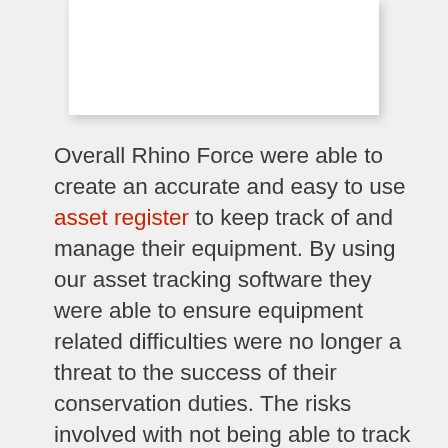[Figure (photo): White rectangular image area at top of page (content not visible)]
Overall Rhino Force were able to create an accurate and easy to use asset register to keep track of and manage their equipment. By using our asset tracking software they were able to ensure equipment related difficulties were no longer a threat to the success of their conservation duties. The risks involved with not being able to track and manage their assets efficiently, was far too big to not take action on...